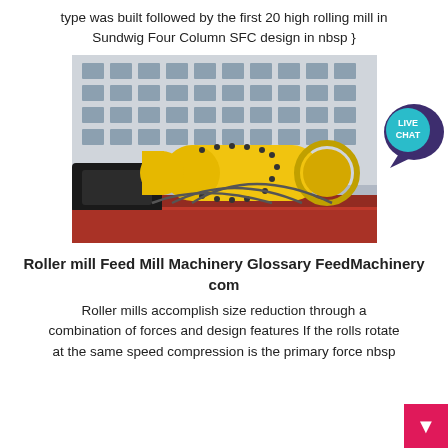type was built followed by the first 20 high rolling mill in Sundwig Four Column SFC design in nbsp }
[Figure (photo): Large yellow industrial ball mill machinery loaded on a red flatbed truck, with a multi-story building in the background.]
Roller mill Feed Mill Machinery Glossary FeedMachinery com
Roller mills accomplish size reduction through a combination of forces and design features If the rolls rotate at the same speed compression is the primary force nbsp